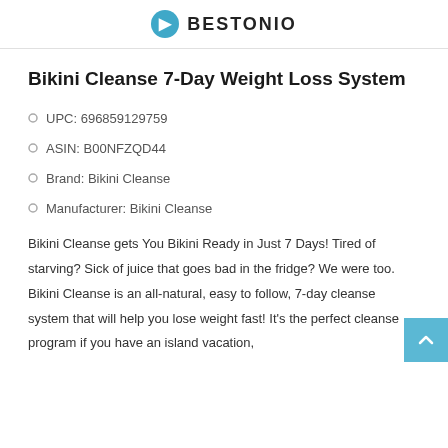BESTONIO
Bikini Cleanse 7-Day Weight Loss System
UPC: 696859129759
ASIN: B00NFZQD44
Brand: Bikini Cleanse
Manufacturer: Bikini Cleanse
Bikini Cleanse gets You Bikini Ready in Just 7 Days! Tired of starving? Sick of juice that goes bad in the fridge? We were too. Bikini Cleanse is an all-natural, easy to follow, 7-day cleanse system that will help you lose weight fast! It's the perfect cleanse program if you have an island vacation,